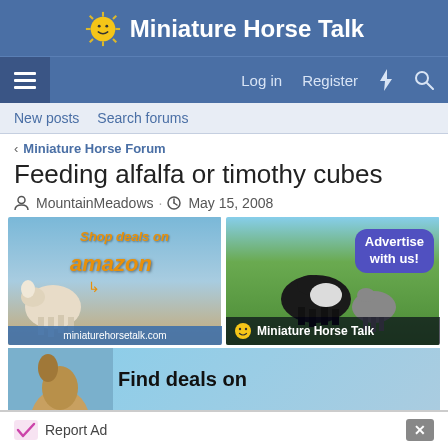Miniature Horse Talk
Log in   Register
New posts   Search forums
< Miniature Horse Forum
Feeding alfalfa or timothy cubes
MountainMeadows · May 15, 2008
[Figure (screenshot): Amazon deal advertisement for miniaturehorsetalk.com showing a white miniature horse]
[Figure (screenshot): Advertise with us! Miniature Horse Talk ad showing two horses in a field]
[Figure (screenshot): Find deals on - partial advertisement with miniature horse photo]
Report Ad